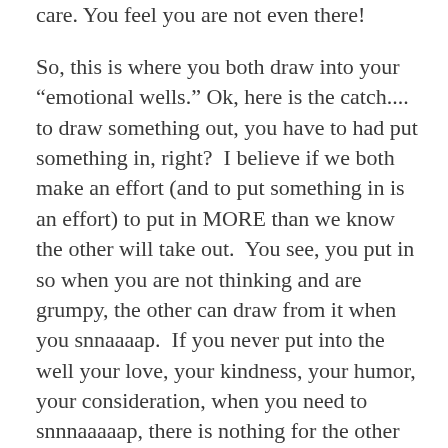care. You feel you are not even there!
So, this is where you both draw into your “emotional wells.” Ok, here is the catch....  to draw something out, you have to had put something in, right?  I believe if we both make an effort (and to put something in is an effort) to put in MORE than we know the other will take out.  You see, you put in so when you are not thinking and are grumpy, the other can draw from it when you snnaaaap.  If you never put into the well your love, your kindness, your humor, your consideration, when you need to snnnaaaaap, there is nothing for the other person to draw from.  And believe me they will snnnnaaapppp back in a big way.